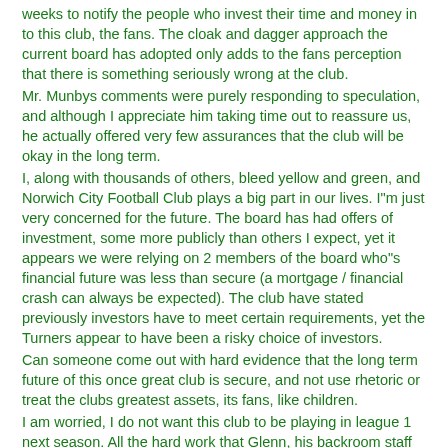weeks to notify the people who invest their time and money in to this club, the fans. The cloak and dagger approach the current board has adopted only adds to the fans perception that there is something seriously wrong at the club.
Mr. Munbys comments were purely responding to speculation, and although I appreciate him taking time out to reassure us, he actually offered very few assurances that the club will be okay in the long term.
I, along with thousands of others, bleed yellow and green, and Norwich City Football Club plays a big part in our lives. I"m just very concerned for the future. The board has had offers of investment, some more publicly than others I expect, yet it appears we were relying on 2 members of the board who"s financial future was less than secure (a mortgage / financial crash can always be expected). The club have stated previously investors have to meet certain requirements, yet the Turners appear to have been a risky choice of investors.
Can someone come out with hard evidence that the long term future of this once great club is secure, and not use rhetoric or treat the clubs greatest assets, its fans, like children.
I am worried, I do not want this club to be playing in league 1 next season. All the hard work that Glenn, his backroom staff and the playing staff have put in would be a complete waste if, because a lack of acceptance of investment, financial troubles led us in to the 3rd tier of english football.